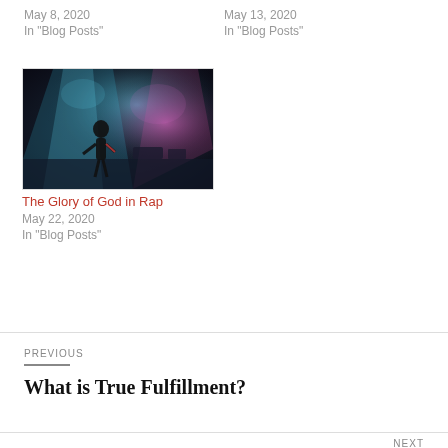May 8, 2020
In "Blog Posts"
May 13, 2020
In "Blog Posts"
[Figure (photo): A performer on stage with dramatic blue and pink lighting, silhouetted figure with light beams in background]
The Glory of God in Rap
May 22, 2020
In "Blog Posts"
PREVIOUS
What is True Fulfillment?
NEXT